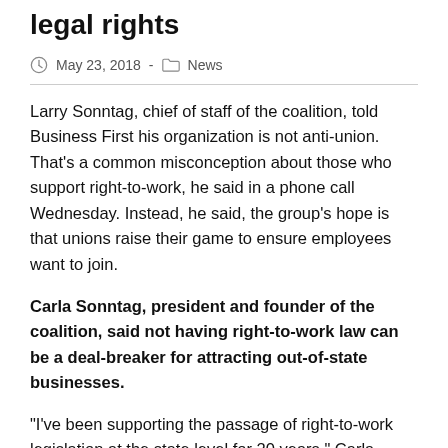legal rights
May 23, 2018  ·  News
Larry Sonntag, chief of staff of the coalition, told Business First his organization is not anti-union. That's a common misconception about those who support right-to-work, he said in a phone call Wednesday. Instead, he said, the group's hope is that unions raise their game to ensure employees want to join.
Carla Sonntag, president and founder of the coalition, said not having right-to-work law can be a deal-breaker for attracting out-of-state businesses.
“I’ve been supporting the passage of right-to-work legislation at the state level for 20 years,” Carla Sonntag said in a statement. “With over 60 percent approval rating from New Mexican citizens, electing a coalition of